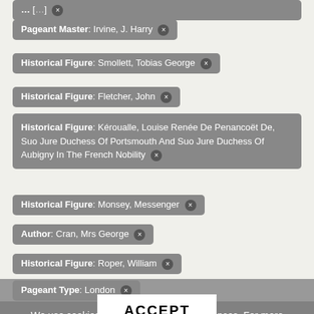Pageant Master: Irvine, J. Harry ×
Historical Figure: Smollett, Tobias George ×
Historical Figure: Fletcher, John ×
Historical Figure: Kéroualle, Louise Renée De Penancoët De, Suo Jure Duchess Of Portsmouth And Suo Jure Duchess Of Aubigny In The French Nobility ×
Historical Figure: Monsey, Messenger ×
Author: Cran, Mrs George ×
Historical Figure: Roper, William ×
Pageant Type: London ×
We use cookies to track usage and preferences. For more information, please read our Privacy & Cookie Policy.
ACCEPT
Date(s)
From
1908